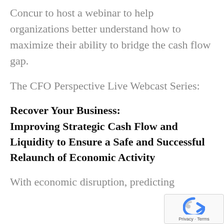Concur to host a webinar to help organizations better understand how to maximize their ability to bridge the cash flow gap.
The CFO Perspective Live Webcast Series:
Recover Your Business: Improving Strategic Cash Flow and Liquidity to Ensure a Safe and Successful Relaunch of Economic Activity
With economic disruption, predicting
[Figure (other): reCAPTCHA privacy badge with blue icon and Privacy · Terms text]